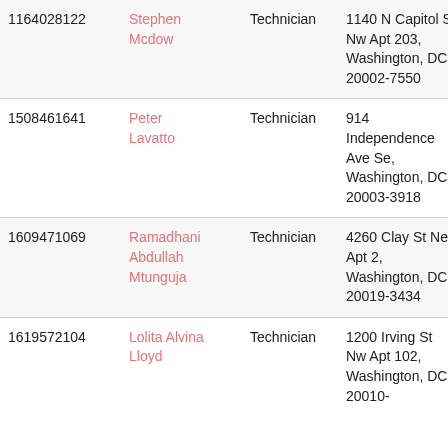| ID | Name | Role | Address | Date |
| --- | --- | --- | --- | --- |
| 1164028122 | Stephen Mcdow | Technician | 1140 N Capitol St Nw Apt 203, Washington, DC 20002-7550 | 2020-12 |
| 1508461641 | Peter Lavatto | Technician | 914 Independence Ave Se, Washington, DC 20003-3918 | 2020-12 |
| 1609471069 | Ramadhani Abdullah Mtunguja | Technician | 4260 Clay St Ne Apt 2, Washington, DC 20019-3434 | 2020-12 |
| 1619572104 | Lolita Alvina Lloyd | Technician | 1200 Irving St Nw Apt 102, Washington, DC 20010- | 2020-12 |